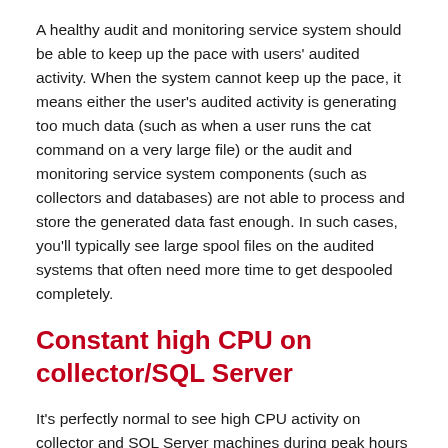A healthy audit and monitoring service system should be able to keep up the pace with users' audited activity. When the system cannot keep up the pace, it means either the user's audited activity is generating too much data (such as when a user runs the cat command on a very large file) or the audit and monitoring service system components (such as collectors and databases) are not able to process and store the generated data fast enough. In such cases, you'll typically see large spool files on the audited systems that often need more time to get despooled completely.
Constant high CPU on collector/SQL Server
It's perfectly normal to see high CPU activity on collector and SQL Server machines during peak hours as